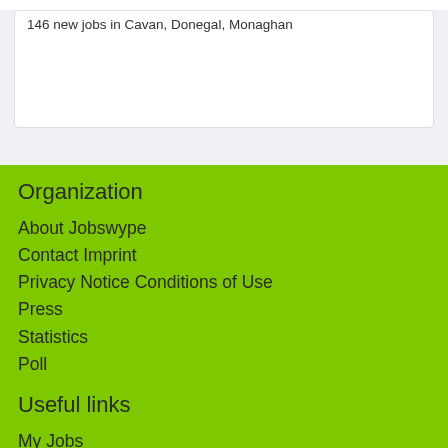146 new jobs in Cavan, Donegal, Monaghan
Organization
About Jobswype
Contact Imprint
Privacy Notice Conditions of Use
Press
Statistics
Poll
Useful links
My Jobs
Job search
Help
Blog